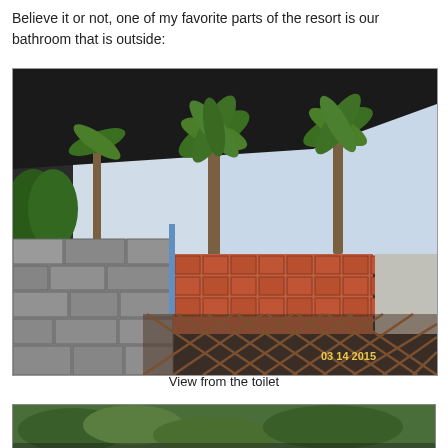Believe it or not, one of my favorite parts of the resort is our bathroom that is outside:
[Figure (photo): Outdoor bathroom at a resort showing stone walls, decorative red brick lattice wall, tropical palm trees visible overhead, bamboo/wooden trellis fence in foreground, dark roof overhang at top, blue sky visible. Timestamp 03.14.2015 in bottom right corner.]
View from the toilet
[Figure (photo): Partial view of another outdoor tropical scene, partially cropped at bottom of page.]